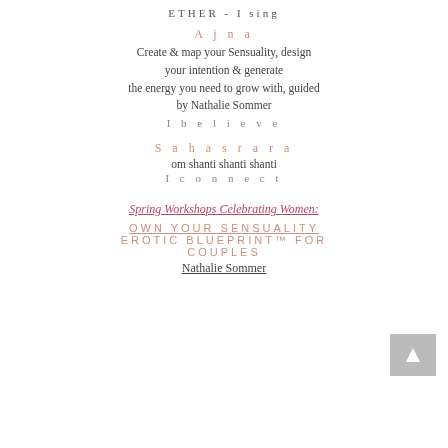ETHER - I sing
Ajna
Create & map your Sensuality, design your intention & generate the energy you need to grow with, guided by Nathalie Sommer
I believe
Sahasrara
om shanti shanti shanti
I connect
Spring Workshops Celebrating Women:
OWN YOUR SENSUALITY EROTIC BLUEPRINT™ FOR COUPLES
Nathalie Sommer